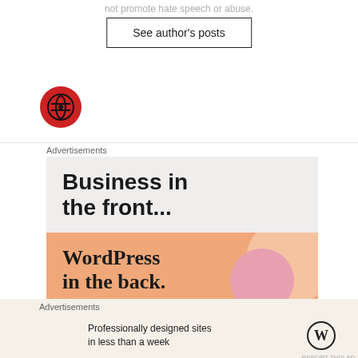not promote hate speech or abuse.
See author's posts
[Figure (logo): Red circle with a white/black globe icon inside]
Advertisements
[Figure (illustration): Advertisement: Business in the front... WordPress in the back. Top half light gray background with bold sans-serif text, bottom half orange/peach background with serif text and colorful blob shapes.]
Advertisements
Professionally designed sites in less than a week
[Figure (logo): WordPress logo (W in circle)]